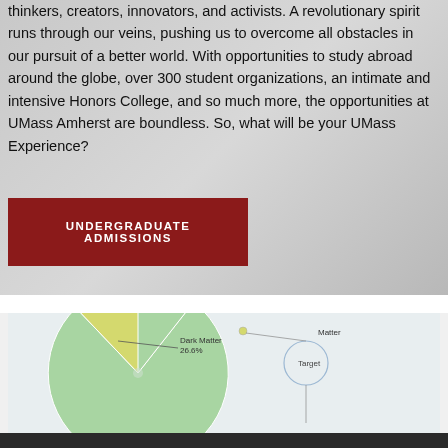thinkers, creators, innovators, and activists. A revolutionary spirit runs through our veins, pushing us to overcome all obstacles in our pursuit of a better world. With opportunities to study abroad around the globe, over 300 student organizations, an intimate and intensive Honors College, and so much more, the opportunities at UMass Amherst are boundless. So, what will be your UMass Experience?
UNDERGRADUATE ADMISSIONS
[Figure (pie-chart): Partial pie chart showing Dark Matter 26.6%, Matter, and Target labels visible. Chart is cropped at bottom of page.]